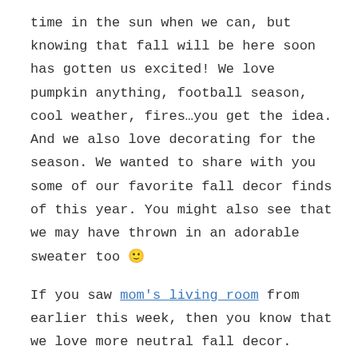time in the sun when we can, but knowing that fall will be here soon has gotten us excited! We love pumpkin anything, football season, cool weather, fires…you get the idea. And we also love decorating for the season. We wanted to share with you some of our favorite fall decor finds of this year. You might also see that we may have thrown in an adorable sweater too 🙂
If you saw mom's living room from earlier this week, then you know that we love more neutral fall decor. There might be hints of traditional colors, but we also lean towards white, cream, and wood tones for the season. Below you can see all of the awesome fall decor finds close up.